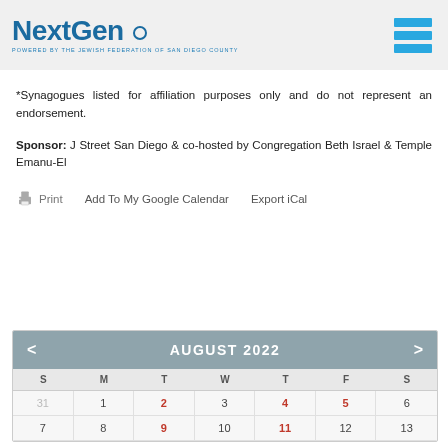NextGen. POWERED BY THE JEWISH FEDERATION OF SAN DIEGO COUNTY
*Synagogues listed for affiliation purposes only and do not represent an endorsement.
Sponsor: J Street San Diego & co-hosted by Congregation Beth Israel & Temple Emanu-El
Print  Add To My Google Calendar  Export iCal
| S | M | T | W | T | F | S |
| --- | --- | --- | --- | --- | --- | --- |
| 31 | 1 | 2 | 3 | 4 | 5 | 6 |
| 7 | 8 | 9 | 10 | 11 | 12 | 13 |